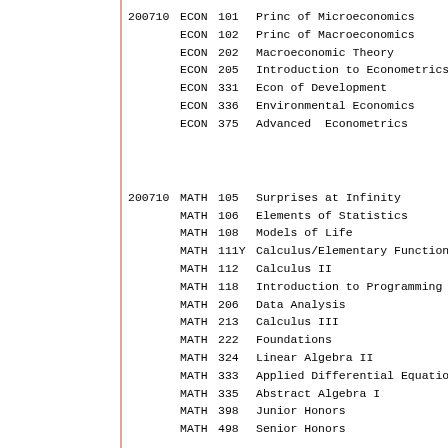200710 ECON 101    Princ of Microeconomics
200710 ECON 102    Princ of Macroeconomics
200710 ECON 202    Macroeconomic Theory
200710 ECON 205    Introduction to Econometrics
200710 ECON 331    Econ of Development
200710 ECON 336    Environmental Economics
200710 ECON 375    Advanced  Econometrics
200710 MATH 105    Surprises at Infinity
200710 MATH 106    Elements of Statistics
200710 MATH 108    Models of Life
200710 MATH 111Y   Calculus/Elementary Functions
200710 MATH 112    Calculus II
200710 MATH 118    Introduction to Programming
200710 MATH 206    Data Analysis
200710 MATH 213    Calculus III
200710 MATH 222    Foundations
200710 MATH 324    Linear Algebra II
200710 MATH 333    Applied Differential Equations
200710 MATH 335    Abstract Algebra I
200710 MATH 398    Junior Honors
200710 MATH 498    Senior Honors
200710 PHIL 120    Symbolic Logic